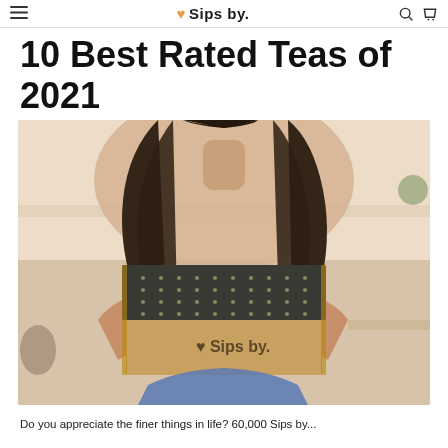♥ Sips by.
10 Best Rated Teas of 2021
[Figure (photo): A woman with long dark wavy hair holds a Sips by subscription tea box toward the camera. The box has a dark gray lid with small dot pattern and a kraft cardboard base with '♥ Sips by.' printed on it. Background is a blurred bright kitchen setting.]
Do you appreciate the finer things in life? 60,000 Sips by...